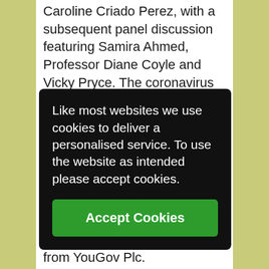Caroline Criado Perez, with a subsequent panel discussion featuring Samira Ahmed, Professor Diane Coyle and Vicky Pryce. The coronavirus outbreak caused that event to be postponed, and a new date is yet to be confirmed.
The report has been produced for Pro Bono Economics by Jon Franklin and Matt Whittaker, with analytical support kindly volunteered by Kathleen Henehan and Fahmida Rahman of
Like most websites we use cookies to deliver a personalised service. To use the website as intended please accept cookies.
Accept Cookies
All quoted survey figures are from YouGov Plc.